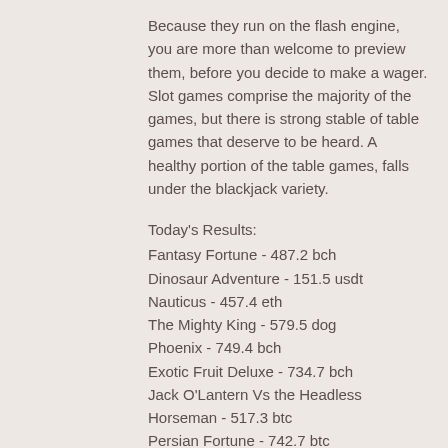Because they run on the flash engine, you are more than welcome to preview them, before you decide to make a wager. Slot games comprise the majority of the games, but there is strong stable of table games that deserve to be heard. A healthy portion of the table games, falls under the blackjack variety.
Today's Results:
Fantasy Fortune - 487.2 bch
Dinosaur Adventure - 151.5 usdt
Nauticus - 457.4 eth
The Mighty King - 579.5 dog
Phoenix - 749.4 bch
Exotic Fruit Deluxe - 734.7 bch
Jack O'Lantern Vs the Headless Horseman - 517.3 btc
Persian Fortune - 742.7 btc
Legends of Greece - 617.5 btc
Jackpotz - 238.8 ltc